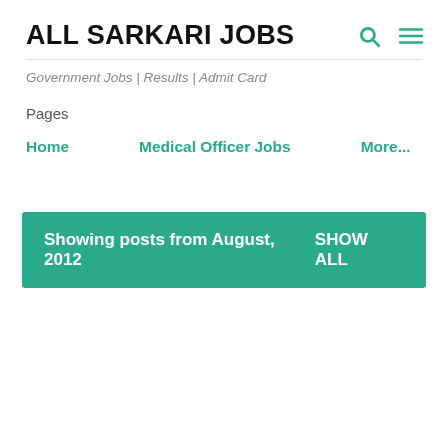ALL SARKARI JOBS
Government Jobs | Results | Admit Card
Pages
Home   Medical Officer Jobs   More...
Showing posts from August, 2012   SHOW ALL